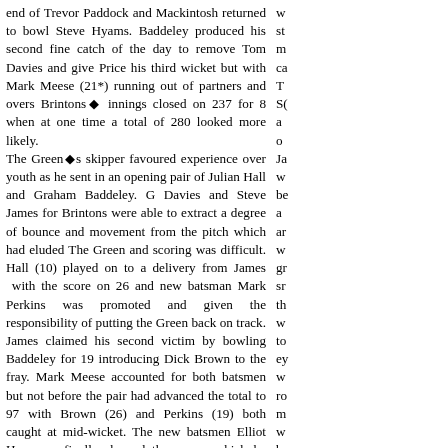end of Trevor Paddock and Mackintosh returned to bowl Steve Hyams. Baddeley produced his second fine catch of the day to remove Tom Davies and give Price his third wicket but with Mark Meese (21*) running out of partners and overs Brintons◆ innings closed on 237 for 8 when at one time a total of 280 looked more likely. The Green◆s skipper favoured experience over youth as he sent in an opening pair of Julian Hall and Graham Baddeley. G Davies and Steve James for Brintons were able to extract a degree of bounce and movement from the pitch which had eluded The Green and scoring was difficult. Hall (10) played on to a delivery from James with the score on 26 and new batsman Mark Perkins was promoted and given the responsibility of putting the Green back on track. James claimed his second victim by bowling Baddeley for 19 introducing Dick Brown to the fray. Mark Meese accounted for both batsmen but not before the pair had advanced the total to 97 with Brown (26) and Perkins (19) both caught at mid-wicket. The new batsmen Elliot Hennessy finally showed the power which he has threatened to unleash all season and struck the ball to all parts of the ground in a superb innings of 48 which included eight fours and two sixes. Chris Hill again looked in good form hitting 18 before being caught. Ewan Wilson, having struggled this season for form with the bat, came to the crease knowing that he would need to support first Hill and then Chris Horne if the Green were to achieve victory and he set about his task in a mature and accomplished manner. Horne, batting with a runner, was able to concentrate on his stroke play as the target grew nearer but both teams knew that victory could go either way until a wide delivery from Stewart was bizarrely converted into 7 runs and the pressure on the home team was lifted. Horne struck a lusty boundary to give The Green victory with some nine balls to spare as he finished on 32 not out with Wilson on 15 not out.
Right column text (partial, cut off)